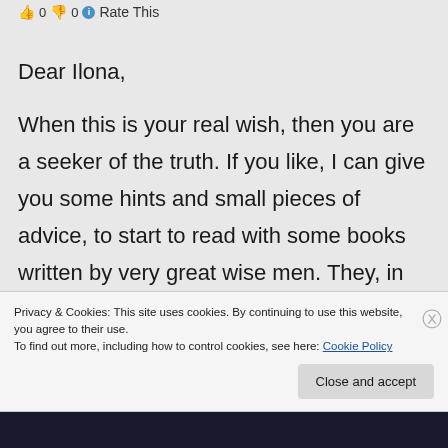👍 0 👎 0 ℹ Rate This
Dear Ilona,
When this is your real wish, then you are a seeker of the truth. If you like, I can give you some hints and small pieces of advice, to start to read with some books written by very great wise men. They, in fact, have given a living example with their life, how to live in this world, be it Christ, Buddha, Kabir, Guru Nanak, Baba Jaimal Singh,
Privacy & Cookies: This site uses cookies. By continuing to use this website, you agree to their use.
To find out more, including how to control cookies, see here: Cookie Policy